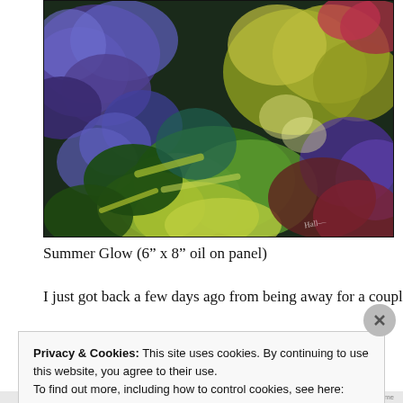[Figure (illustration): Colorful impressionist-style oil painting of flowers and foliage — blues, purples, greens, yellows, reds. Loose brushwork showing a garden scene. Artist signature visible in lower right.]
Summer Glow (6" x 8" oil on panel)
I just got back a few days ago from being away for a couple
Privacy & Cookies: This site uses cookies. By continuing to use this website, you agree to their use.
To find out more, including how to control cookies, see here: Cookie Policy
Close and accept